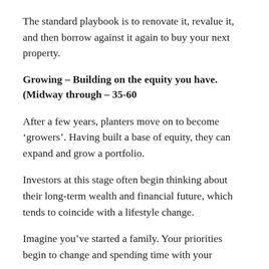The standard playbook is to renovate it, revalue it, and then borrow against it again to buy your next property.
Growing – Building on the equity you have. (Midway through – 35-60
After a few years, planters move on to become ‘growers’. Having built a base of equity, they can expand and grow a portfolio.
Investors at this stage often begin thinking about their long-term wealth and financial future, which tends to coincide with a lifestyle change.
Imagine you’ve started a family. Your priorities begin to change and spending time with your